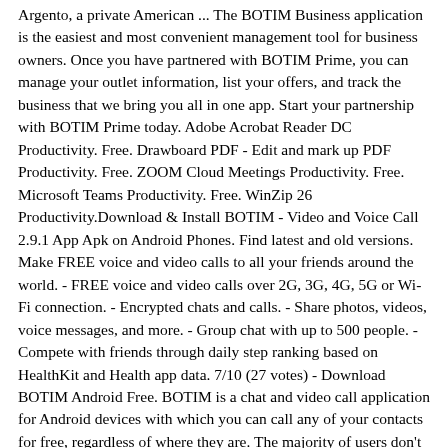Argento, a private American ... The BOTIM Business application is the easiest and most convenient management tool for business owners. Once you have partnered with BOTIM Prime, you can manage your outlet information, list your offers, and track the business that we bring you all in one app. Start your partnership with BOTIM Prime today. Adobe Acrobat Reader DC Productivity. Free. Drawboard PDF - Edit and mark up PDF Productivity. Free. ZOOM Cloud Meetings Productivity. Free. Microsoft Teams Productivity. Free. WinZip 26 Productivity.Download & Install BOTIM - Video and Voice Call 2.9.1 App Apk on Android Phones. Find latest and old versions. Make FREE voice and video calls to all your friends around the world. - FREE voice and video calls over 2G, 3G, 4G, 5G or Wi-Fi connection. - Encrypted chats and calls. - Share photos, videos, voice messages, and more. - Group chat with up to 500 people. - Compete with friends through daily step ranking based on HealthKit and Health app data. 7/10 (27 votes) - Download BOTIM Android Free. BOTIM is a chat and video call application for Android devices with which you can call any of your contacts for free, regardless of where they are. The majority of users don't need any other chat and instant messaging application beyond WhatsApp but... Make FREE voice and video calls to all your friends around the world. - FREE voice and video calls over 2G, 3G, 4G, 5G or Wi-Fi connection. - Encrypted chats and calls. - Share photos, videos, voice messages, and more. - Group chat with up to 500 people. - Compete with friends through daily step ranking based on HealthKit and Health app data. 7/10